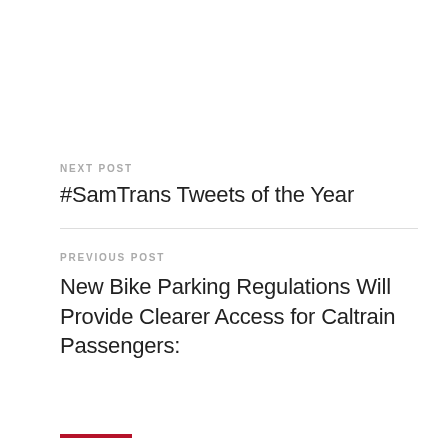NEXT POST
#SamTrans Tweets of the Year
PREVIOUS POST
New Bike Parking Regulations Will Provide Clearer Access for Caltrain Passengers: